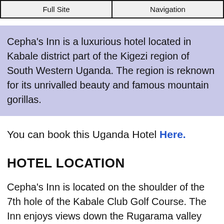Full Site | Navigation
Cepha's Inn is a luxurious hotel located in Kabale district part of the Kigezi region of South Western Uganda. The region is reknown for its unrivalled beauty and famous mountain gorillas.
You can book this Uganda Hotel Here.
HOTEL LOCATION
Cepha's Inn is located on the shoulder of the 7th hole of the Kabale Club Golf Course. The Inn enjoys views down the Rugarama valley and provides a cozy environment that will make your dream trip to the scenic heartland of Kigezi come